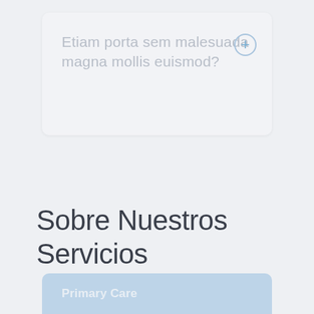Etiam porta sem malesuada magna mollis euismod?
Sobre Nuestros Servicios
Primary Care